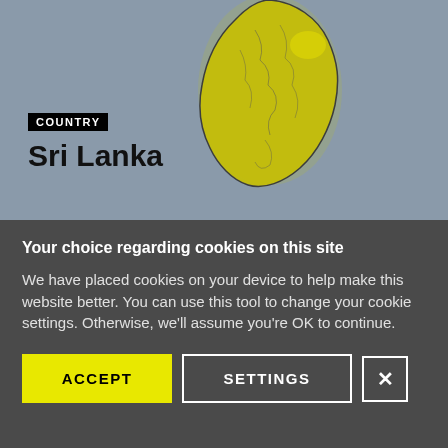[Figure (map): A 3D relief map showing Sri Lanka island in yellow/olive color on a gray background. The country label 'COUNTRY' appears in a black box with 'Sri Lanka' in large bold black text below it.]
Your choice regarding cookies on this site
We have placed cookies on your device to help make this website better. You can use this tool to change your cookie settings. Otherwise, we'll assume you're OK to continue.
ACCEPT | SETTINGS | X